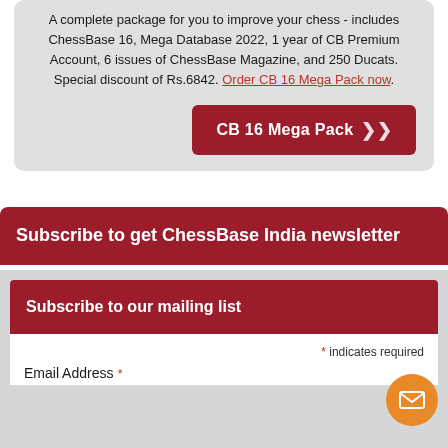A complete package for you to improve your chess - includes ChessBase 16, Mega Database 2022, 1 year of CB Premium Account, 6 issues of ChessBase Magazine, and 250 Ducats. Special discount of Rs.6842. Order CB 16 Mega Pack now.
CB 16 Mega Pack >>
Subscribe to get ChessBase India newsletter
Subscribe to our mailing list
* indicates required
Email Address *